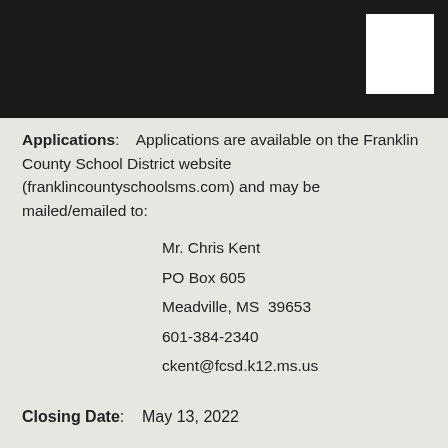Applications: Applications are available on the Franklin County School District website (franklincountyschoolsms.com) and may be mailed/emailed to:
Mr. Chris Kent
PO Box 605
Meadville, MS  39653
601-384-2340
ckent@fcsd.k12.ms.us
Closing Date: May 13, 2022